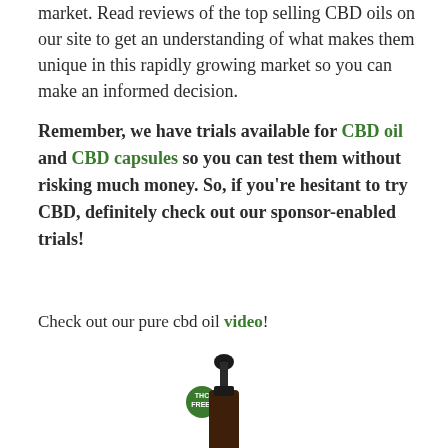market. Read reviews of the top selling CBD oils on our site to get an understanding of what makes them unique in this rapidly growing market so you can make an informed decision.
Remember, we have trials available for CBD oil and CBD capsules so you can test them without risking much money. So, if you're hesitant to try CBD, definitely check out our sponsor-enabled trials!
Check out our pure cbd oil video!
[Figure (photo): CBD oil bottle with dropper and THC FREE badge]